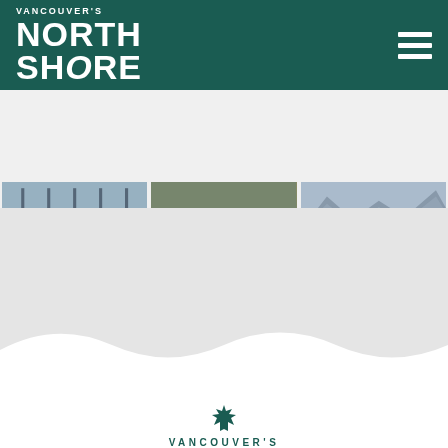[Figure (logo): Vancouver's North Shore logo in white text on dark teal header, with hamburger menu icon on right]
[Figure (photo): Three side-by-side photos: left shows a person jumping near a fence, center shows an outdoor concert/stage setup, right shows a rocky shoreline with mountains and water]
[Figure (logo): Vancouver's North Shore logo at bottom of page with maple leaf icon above text VANCOUVER'S in dark teal]